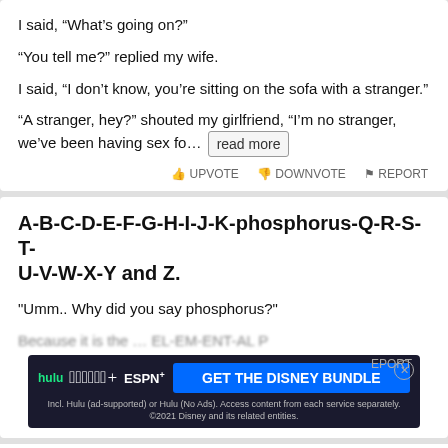I said, “What’s going on?”
“You tell me?” replied my wife.
I said, “I don’t know, you’re sitting on the sofa with a stranger.”
“A stranger, hey?” shouted my girlfriend, “I’m no stranger, we’ve been having sex fo… [read more]
UPVOTE  DOWNVOTE  REPORT
A-B-C-D-E-F-G-H-I-J-K-phosphorus-Q-R-S-T-U-V-W-X-Y and Z.
"Umm.. Why did you say phosphorus?"
Because it is the … EL-EM-ENT-AL P
[Figure (infographic): Hulu Disney+ ESPN+ GET THE DISNEY BUNDLE advertisement banner with dark background]
If Roe v wade is reversed, we are going to have a huge problem on our hands.